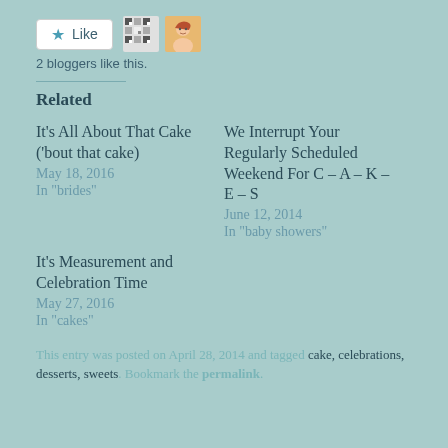[Figure (other): Like button with star icon and two blogger avatars (a patterned avatar and a red-haired person avatar)]
2 bloggers like this.
Related
It's All About That Cake ('bout that cake)
May 18, 2016
In "brides"
We Interrupt Your Regularly Scheduled Weekend For C – A – K – E – S
June 12, 2014
In "baby showers"
It's Measurement and Celebration Time
May 27, 2016
In "cakes"
This entry was posted on April 28, 2014 and tagged cake, celebrations, desserts, sweets. Bookmark the permalink.